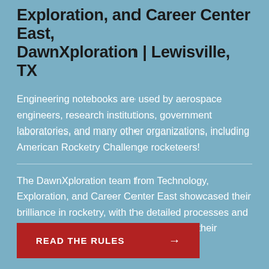Exploration, and Career Center East, DawnXploration | Lewisville, TX
Engineering notebooks are used by aerospace engineers, research institutions, government laboratories, and many other organizations, including American Rocketry Challenge rocketeers!
The DawnXploration team from Technology, Exploration, and Career Center East showcased their brilliance in rocketry, with the detailed processes and designs flowing throughout each page of their engineering notebook.
READ THE RULES →